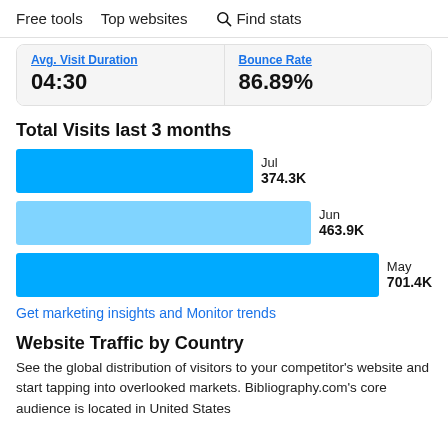Free tools   Top websites   🔍 Find stats
| Avg. Visit Duration | Bounce Rate |
| --- | --- |
| 04:30 | 86.89% |
Total Visits last 3 months
[Figure (bar-chart): Total Visits last 3 months]
Get marketing insights and Monitor trends
Website Traffic by Country
See the global distribution of visitors to your competitor's website and start tapping into overlooked markets. Bibliography.com's core audience is located in United States